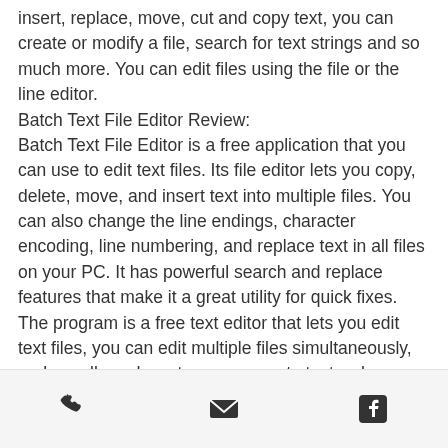insert, replace, move, cut and copy text, you can create or modify a file, search for text strings and so much more. You can edit files using the file or the line editor.
Batch Text File Editor Review:
Batch Text File Editor is a free application that you can use to edit text files. Its file editor lets you copy, delete, move, and insert text into multiple files. You can also change the line endings, character encoding, line numbering, and replace text in all files on your PC. It has powerful search and replace features that make it a great utility for quick fixes.
The program is a free text editor that lets you edit text files, you can edit multiple files simultaneously, replace all words, cut, copy, or paste texts, change file properties, append text to end of file, append text to line,
phone | email | facebook